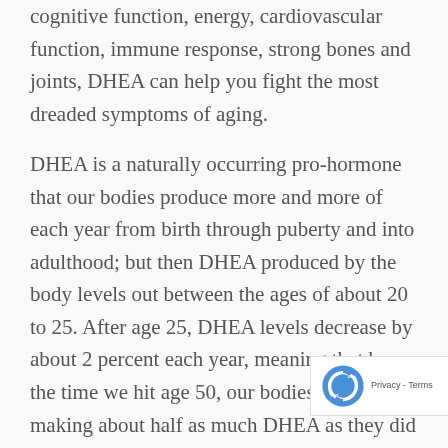cognitive function, energy, cardiovascular function, immune response, strong bones and joints, DHEA can help you fight the most dreaded symptoms of aging.
DHEA is a naturally occurring pro-hormone that our bodies produce more and more of each year from birth through puberty and into adulthood; but then DHEA produced by the body levels out between the ages of about 20 to 25. After age 25, DHEA levels decrease by about 2 percent each year, meaning that by the time we hit age 50, our bodies are only making about half as much DHEA as they did in our 20s. By age 35 most people are already making 20% less than when we were in our primo. Because of this decline and the many